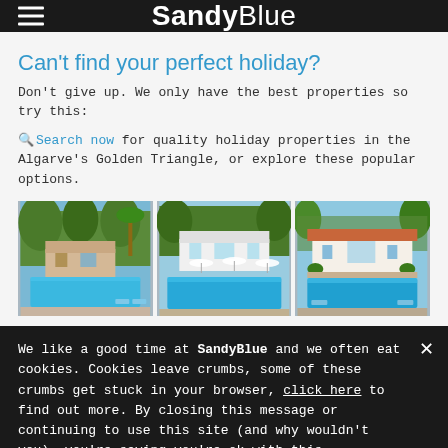SandyBlue
Can't find your perfect holiday?
Don't give up. We only have the best properties so try this:
Search now for quality holiday properties in the Algarve's Golden Triangle, or explore these popular options.
[Figure (photo): Three photos of luxury holiday villas with swimming pools in the Algarve]
We like a good time at SandyBlue and we often eat cookies. Cookies leave crumbs, some of these crumbs get stuck in your browser, click here to find out more. By closing this message or continuing to use this site (and why wouldn't you), you're saying you're ok with this.